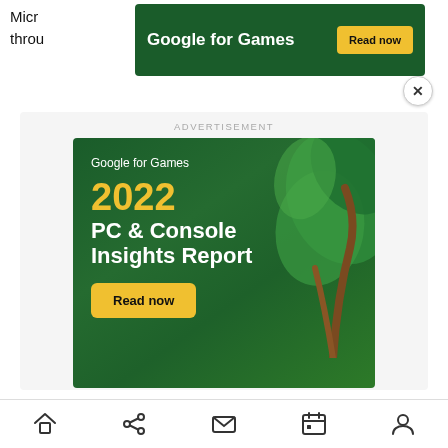Micro
throu
[Figure (screenshot): Google for Games banner advertisement with dark green background, white text 'Google for Games', and yellow 'Read now' button]
[Figure (screenshot): Large Google for Games advertisement: '2022 PC & Console Insights Report' with Read now button on dark green background with illustrated plant/leaves, labeled ADVERTISEMENT]
Sweeney is making a lot of noise about this
[Figure (other): Mobile browser bottom navigation bar with home, share, mail, calendar, and profile icons]